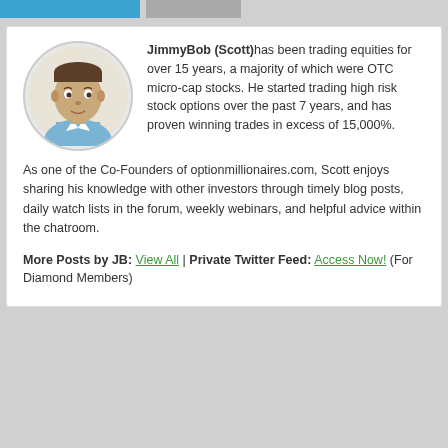[Figure (illustration): Blue and gray social share buttons at the top of the page]
[Figure (photo): Circular avatar/caricature portrait of JimmyBob (Scott), a man in a blue collared shirt]
JimmyBob (Scott) has been trading equities for over 15 years, a majority of which were OTC micro-cap stocks. He started trading high risk stock options over the past 7 years, and has proven winning trades in excess of 15,000%. As one of the Co-Founders of optionmillionaires.com, Scott enjoys sharing his knowledge with other investors through timely blog posts, daily watch lists in the forum, weekly webinars, and helpful advice within the chatroom.
More Posts by JB: View All | Private Twitter Feed: Access Now! (For Diamond Members)